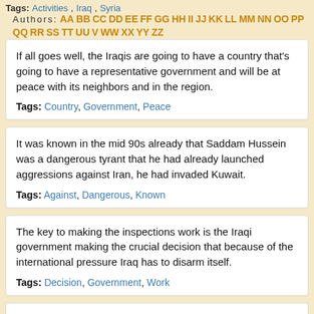Tags: Activities, Iraq, Syria  Authors: AA BB CC DD EE FF GG HH II JJ KK LL MM NN OO PP QQ RR SS TT UU V WW XX YY ZZ
If all goes well, the Iraqis are going to have a country that's going to have a representative government and will be at peace with its neighbors and in the region.
Tags: Country, Government, Peace
It was known in the mid 90s already that Saddam Hussein was a dangerous tyrant that he had already launched aggressions against Iran, he had invaded Kuwait.
Tags: Against, Dangerous, Known
The key to making the inspections work is the Iraqi government making the crucial decision that because of the international pressure Iraq has to disarm itself.
Tags: Decision, Government, Work
The purpose of the UN mechanism, this inspection